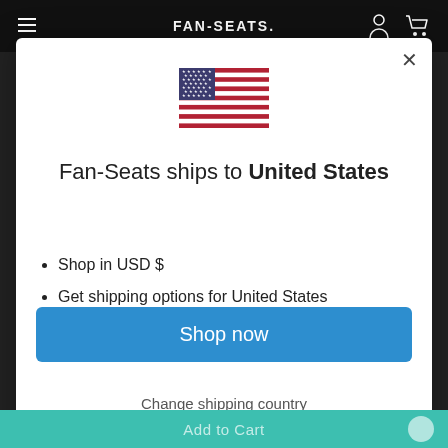FAN-SEATS.
[Figure (illustration): US flag SVG illustration]
Fan-Seats ships to United States
Shop in USD $
Get shipping options for United States
Shop now
Change shipping country
Add to Cart